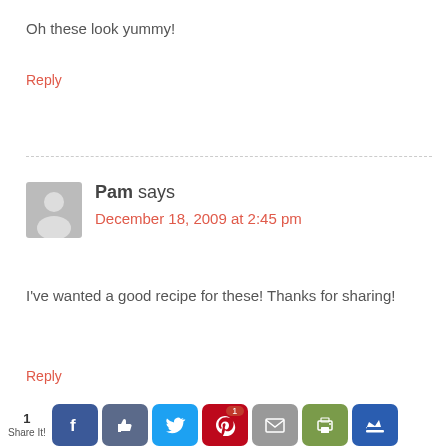Oh these look yummy!
Reply
Pam says
December 18, 2009 at 2:45 pm
I've wanted a good recipe for these! Thanks for sharing!
Reply
[Figure (infographic): Social share bar with Facebook, Like, Twitter, Pinterest (badge:1), Mail, Print, and Crown buttons. Shows '1 Share It!' label on the left.]